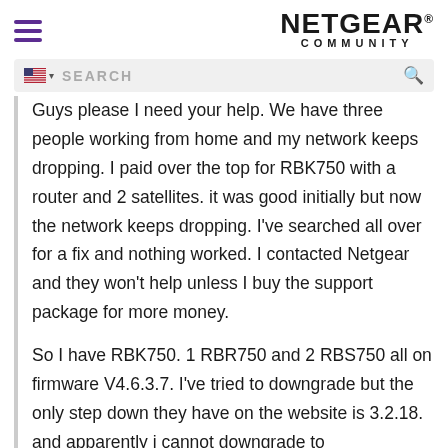[Figure (logo): Netgear Community logo with hamburger menu icon on left and NETGEAR COMMUNITY text on right]
[Figure (screenshot): Search bar with US flag and language selector, search input field with magnifying glass icon]
Guys please I need your help. We have three people working from home and my network keeps dropping. I paid over the top for RBK750 with a router and 2 satellites. it was good initially but now the network keeps dropping. I've searched all over for a fix and nothing worked. I contacted Netgear and they won't help unless I buy the support package for more money.
So I have RBK750. 1 RBR750 and 2 RBS750 all on firmware V4.6.3.7. I've tried to downgrade but the only step down they have on the website is 3.2.18. and apparently i cannot downgrade to